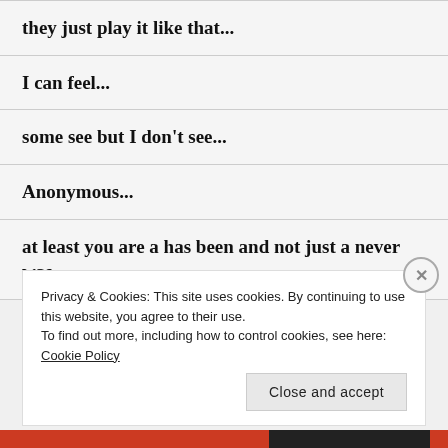they just play it like that...
I can feel...
some see but I don't see...
Anonymous...
at least you are a has been and not just a never was...
Privacy & Cookies: This site uses cookies. By continuing to use this website, you agree to their use. To find out more, including how to control cookies, see here: Cookie Policy
Close and accept